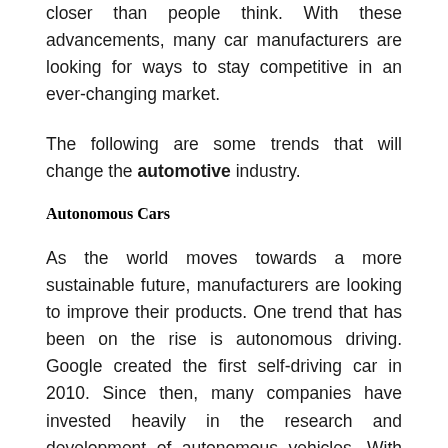closer than people think. With these advancements, many car manufacturers are looking for ways to stay competitive in an ever-changing market.
The following are some trends that will change the automotive industry.
Autonomous Cars
As the world moves towards a more sustainable future, manufacturers are looking to improve their products. One trend that has been on the rise is autonomous driving. Google created the first self-driving car in 2010. Since then, many companies have invested heavily in the research and development of autonomous vehicles. With this